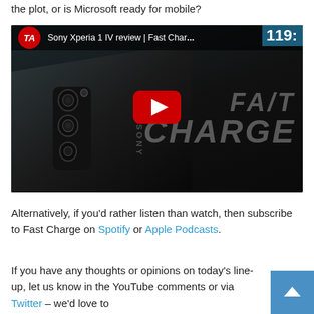the plot, or is Microsoft ready for mobile?
[Figure (screenshot): YouTube video thumbnail for 'Sony Xperia 1 IV review | Fast Charge...119' showing the back of a Sony smartphone with camera array, with Fast Charge text in background and YouTube play button overlay]
Alternatively, if you'd rather listen than watch, then subscribe to Fast Charge on Spotify or Apple Podcasts.
If you have any thoughts or opinions on today's line-up, let us know in the YouTube comments or via Twitter – we'd love to